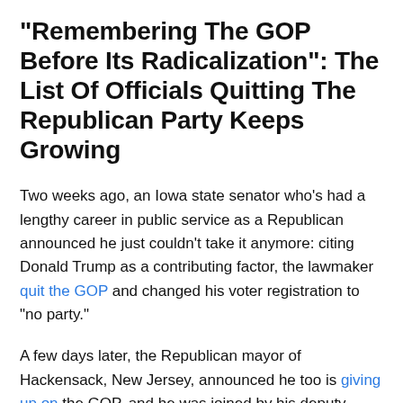“Remembering The GOP Before Its Radicalization”: The List Of Officials Quitting The Republican Party Keeps Growing
Two weeks ago, an Iowa state senator who’s had a lengthy career in public service as a Republican announced he just couldn’t take it anymore: citing Donald Trump as a contributing factor, the lawmaker quit the GOP and changed his voter registration to “no party.”
A few days later, the Republican mayor of Hackensack, New Jersey, announced he too is giving up on the GOP, and he was joined by his deputy mayor. Both mentioned Trump in their statements and both switched their